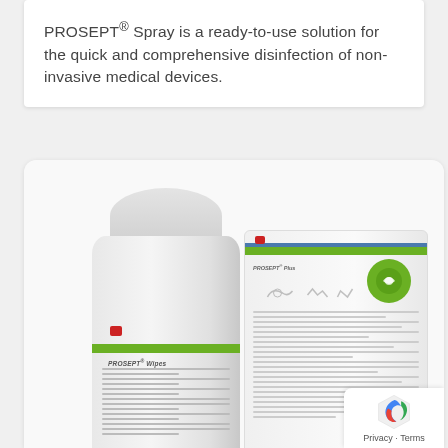PROSEPT® Spray is a ready-to-use solution for the quick and comprehensive disinfection of non-invasive medical devices.
[Figure (photo): Product photo showing PROSEPT Wipes canister and PROSEPT Plus flat pouch packaging side by side]